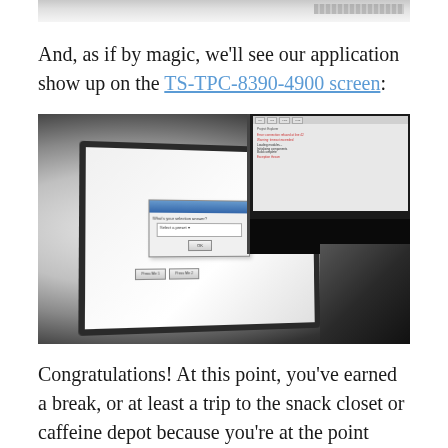[Figure (screenshot): Partial screenshot of a computer screen shown at the top of the page, cropped, showing a toolbar/UI element]
And, as if by magic, we'll see our application show up on the TS-TPC-8390-4900 screen:
[Figure (photo): Photograph of a laptop or touch-screen device showing a dialog box with 'Select a preset' dropdown and two buttons labeled 'Press Me 1' and 'Press Me 2', with another monitor visible in the background displaying code or text.]
Congratulations! At this point, you've earned a break, or at least a trip to the snack closet or caffeine depot because you're at the point